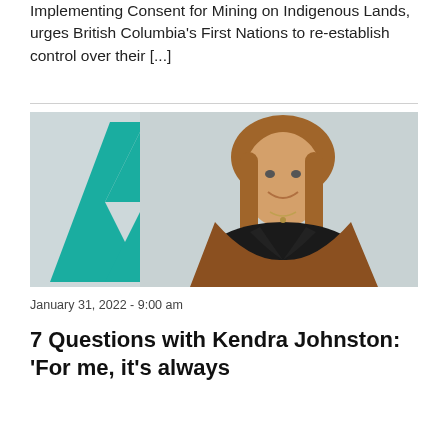Implementing Consent for Mining on Indigenous Lands, urges British Columbia's First Nations to re-establish control over their [...]
[Figure (photo): Professional headshot of a woman with brown shoulder-length hair, smiling, wearing a brown leather jacket over a black top. She is posed in front of a light gray background with a large teal geometric ribbon/arrow shape (resembling a stylized letter A or chevron) visible to her left.]
January 31, 2022 - 9:00 am
7 Questions with Kendra Johnston: 'For me, it's always